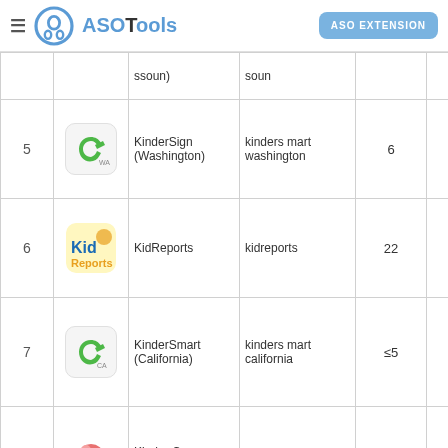ASOTools | ASO EXTENSION
| # | Icon | Name | Keyword | Col5 | Col6 |
| --- | --- | --- | --- | --- | --- |
|  |  | ssoun) | soun |  |  |
| 5 | [KinderSign icon] | KinderSign (Washington) | kinders mart washington | 6 | 27 |
| 6 | [KidReports icon] | KidReports | kidreports | 22 | 43 |
| 7 | [KinderSmart CA icon] | KinderSmart (California) | kinders mart california | ≤5 | 26 |
| 8 | [KinderCare icon] | Kinder Care Nursery | kinder | 44 | 31 |
|  | [icon] | KinderS... | kinders |  |  |